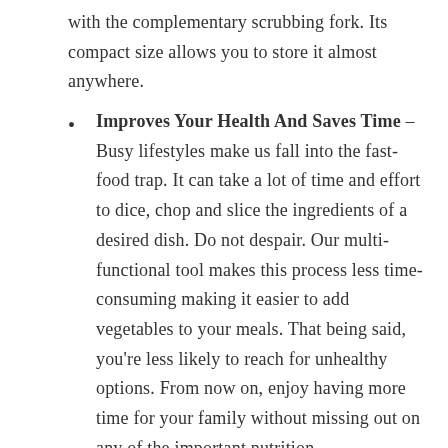with the complementary scrubbing fork. Its compact size allows you to store it almost anywhere.
Improves Your Health And Saves Time – Busy lifestyles make us fall into the fast-food trap. It can take a lot of time and effort to dice, chop and slice the ingredients of a desired dish. Do not despair. Our multi-functional tool makes this process less time-consuming making it easier to add vegetables to your meals. That being said, you're less likely to reach for unhealthy options. From now on, enjoy having more time for your family without missing out on any of the important nutrition.